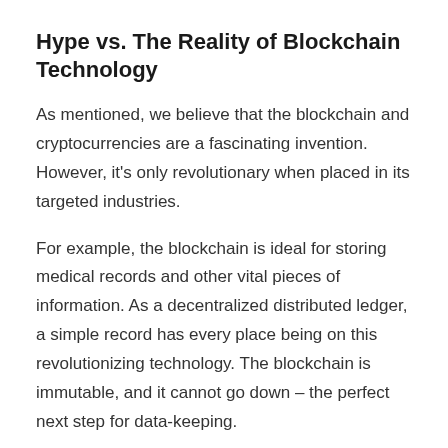Hype vs. The Reality of Blockchain Technology
As mentioned, we believe that the blockchain and cryptocurrencies are a fascinating invention. However, it's only revolutionary when placed in its targeted industries.
For example, the blockchain is ideal for storing medical records and other vital pieces of information. As a decentralized distributed ledger, a simple record has every place being on this revolutionizing technology. The blockchain is immutable, and it cannot go down – the perfect next step for data-keeping.
Yet, as is the case even with centralized record solutions, the information is input only by